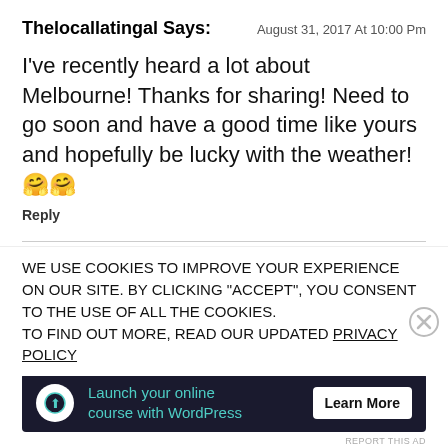Thelocallatingal Says:    August 31, 2017 At 10:00 Pm
I've recently heard a lot about Melbourne! Thanks for sharing! Need to go soon and have a good time like yours and hopefully be lucky with the weather! 🤗🤗
Reply
Calvin F. Says:    September 26, 2017 At 3:23 Am
WE USE COOKIES TO IMPROVE YOUR EXPERIENCE ON OUR SITE. BY CLICKING "ACCEPT", YOU CONSENT TO THE USE OF ALL THE COOKIES.
TO FIND OUT MORE, READ OUR UPDATED PRIVACY POLICY
ADVERTISEMENTS
[Figure (infographic): Advertisement banner: dark background with icon, teal text 'Launch your online course with WordPress', and 'Learn More' button]